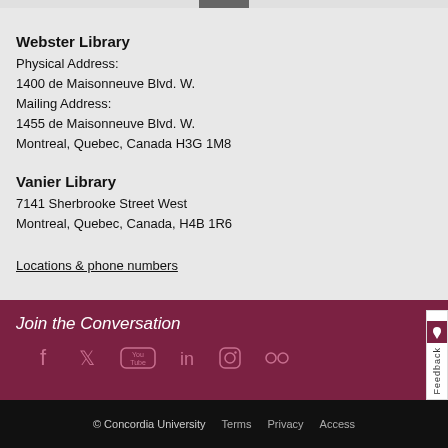Webster Library
Physical Address:
1400 de Maisonneuve Blvd. W.
Mailing Address:
1455 de Maisonneuve Blvd. W.
Montreal, Quebec, Canada H3G 1M8
Vanier Library
7141 Sherbrooke Street West
Montreal, Quebec, Canada, H4B 1R6
Locations & phone numbers
Join the Conversation
[Figure (infographic): Social media icons: Facebook, Twitter, YouTube, LinkedIn, Instagram, Flickr]
© Concordia University   Terms   Privacy   Access